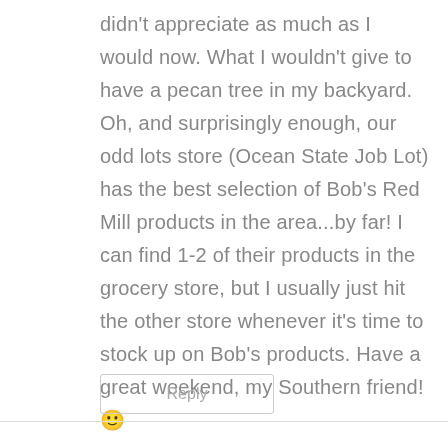didn't appreciate as much as I would now. What I wouldn't give to have a pecan tree in my backyard. Oh, and surprisingly enough, our odd lots store (Ocean State Job Lot) has the best selection of Bob's Red Mill products in the area...by far! I can find 1-2 of their products in the grocery store, but I usually just hit the other store whenever it's time to stock up on Bob's products. Have a great weekend, my Southern friend! 🙂